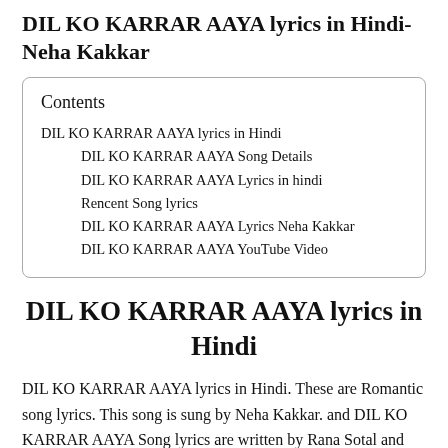DIL KO KARRAR AAYA lyrics in Hindi- Neha Kakkar
| Contents |
| --- |
| DIL KO KARRAR AAYA lyrics in Hindi |
| DIL KO KARRAR AAYA Song Details |
| DIL KO KARRAR AAYA Lyrics in hindi |
| Rencent Song lyrics |
| DIL KO KARRAR AAYA Lyrics Neha Kakkar |
| DIL KO KARRAR AAYA YouTube Video |
DIL KO KARRAR AAYA lyrics in Hindi
DIL KO KARRAR AAYA lyrics in Hindi. These are Romantic song lyrics. This song is sung by Neha Kakkar. and DIL KO KARRAR AAYA Song lyrics are written by Rana Sotal and